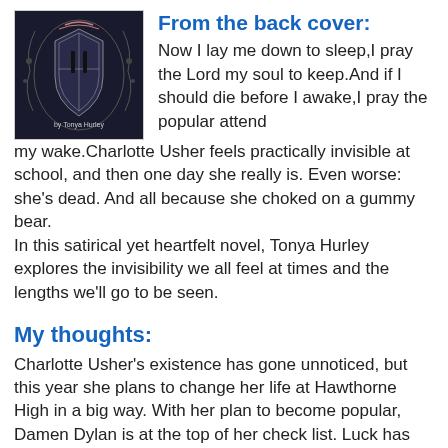[Figure (illustration): Book cover image with dark background, decorative gothic design with a central figure, and text 'by Tonya Hurley' at the bottom]
From the back cover:
Now I lay me down to sleep,I pray the Lord my soul to keep.And if I should die before I awake,I pray the popular attend my wake.Charlotte Usher feels practically invisible at school, and then one day she really is. Even worse: she's dead. And all because she choked on a gummy bear.
In this satirical yet heartfelt novel, Tonya Hurley explores the invisibility we all feel at times and the lengths we'll go to be seen.
My thoughts:
Charlotte Usher's existence has gone unnoticed, but this year she plans to change her life at Hawthorne High in a big way. With her plan to become popular, Damen Dylan is at the top of her check list. Luck has suddenly come her way when she and Damen become lab partners in class, and he asks if she'll consider becoming his tutor. Then she chokes on a gummy bear and wakes on the other side.
Piccolo Pam becomes her mentor in death when her Dead